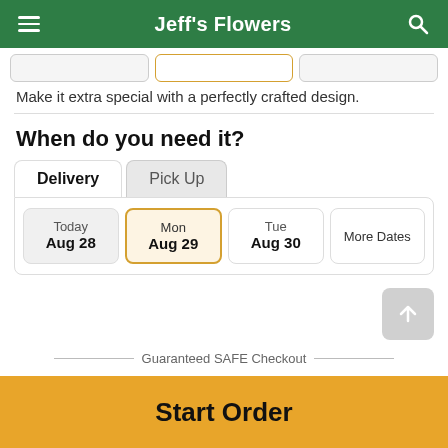Jeff's Flowers
Make it extra special with a perfectly crafted design.
When do you need it?
Delivery | Pick Up
Today Aug 28 | Mon Aug 29 | Tue Aug 30 | More Dates
Guaranteed SAFE Checkout
Start Order